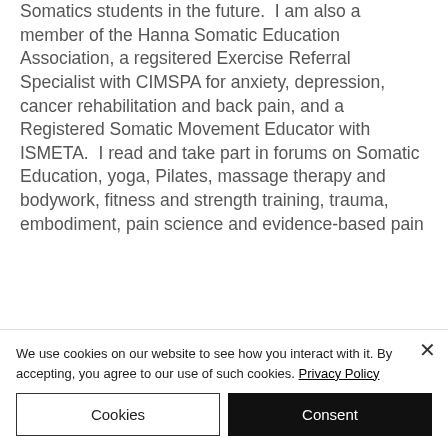Somatics students in the future.  I am also a member of the Hanna Somatic Education Association, a regsitered Exercise Referral Specialist with CIMSPA for anxiety, depression, cancer rehabilitation and back pain, and a Registered Somatic Movement Educator with ISMETA.  I read and take part in forums on Somatic Education, yoga, Pilates, massage therapy and bodywork, fitness and strength training, trauma, embodiment, pain science and evidence-based pain
We use cookies on our website to see how you interact with it. By accepting, you agree to our use of such cookies. Privacy Policy
Cookies
Consent